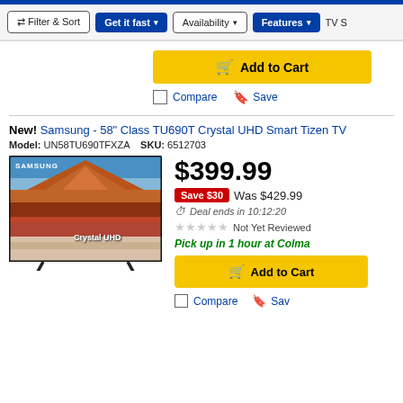Filter & Sort | Get it fast | Availability | Features | TV S...
Add to Cart
Compare  Save
New! Samsung - 58" Class TU690T Crystal UHD Smart Tizen TV
Model: UN58TU690TFXZA  SKU: 6512703
[Figure (photo): Samsung 58-inch Crystal UHD TV product photo showing a mountain landscape on screen with Crystal UHD branding]
$399.99
Save $30  Was $429.99
Deal ends in 10:12:20
Not Yet Reviewed
Pick up in 1 hour at Colma
Add to Cart
Compare  Sav...